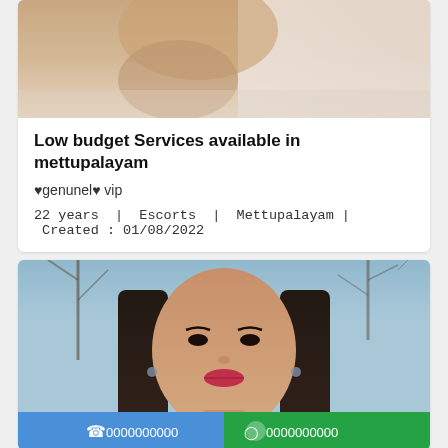[Figure (photo): Cropped photo at top of first listing card showing a person, partially visible]
Low budget Services available in mettupalayam
♥genunel♥ vip
22 years  |  Escorts  |  Mettupalayam |  Created : 01/08/2022
[Figure (photo): Portrait photo of a young woman with long black hair, wearing a black choker necklace, with bare trees in background. Blue call button and green WhatsApp button overlaid at bottom showing 0000000000.]